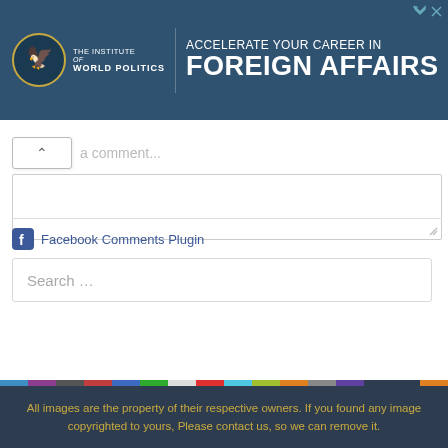[Figure (infographic): Advertisement banner for The Institute of World Politics with text 'Accelerate Your Career in Foreign Affairs' on dark blue background with logo]
a comment...
Facebook Comments Plugin
Search …
All images are the property of their respective owners. If you found any image copyrighted to yours, Please contact us, so we can remove it.